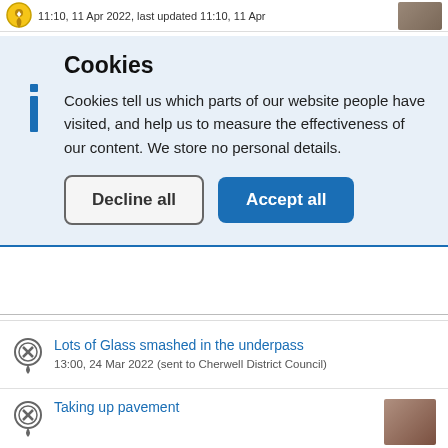11:10, 11 Apr 2022, last updated 11:10, 11 Apr
Cookies
Cookies tell us which parts of our website people have visited, and help us to measure the effectiveness of our content. We store no personal details.
Decline all | Accept all
Lots of Glass smashed in the underpass
13:00, 24 Mar 2022 (sent to Cherwell District Council)
Taking up pavement